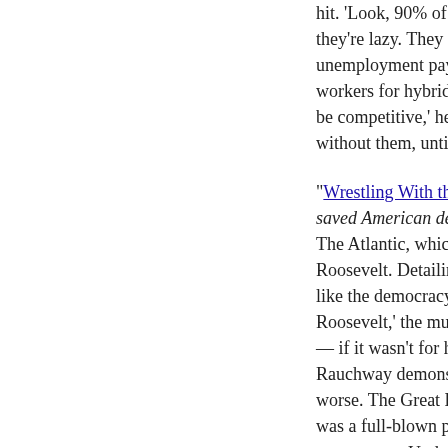hit. 'Look, 90% of restaurant employees were terminated in m they're lazy. They got on unemployment because they were fi unemployment payments reject Paycheck Protection Program workers for hybrid models, or to-go models — the revenue st be competitive,' he said. 'Industry workers didn't opt out of w without them, until the pandemic was over.'
"Wrestling With the New Deal": The programs Roosevelt put t saved American democracy itself. In 2014, an up-and-coming The Atlantic, which took aim at, among other targets, one of t Roosevelt. Detailing the failures of New Deal housing policy like the democracy that produced it, rested on the foundation Roosevelt,' the multi-platinum rapper told GQ four years late — if it wasn't for him, old people wouldn't even get Social Se Rauchway demonstrates in his admirable new book Why the worse. The Great Depression that Roosevelt ended was not m was a full-blown political crisis that toppled regimes around t governance. Under FDR, Rauchway writes, 'democracy in the emerge from a severe crisis not only intact but stronger.' Whe meaning of America. [...] But the New Deal meant more to B inaugurated the titanic shift in Black voting away from the pa Hoover's disastrous navigation of the Depression, Roosevelt Deal, he won the Black vote by nearly 3-to-1 in 1936. This w
"Video of police abuses and the NYPD trampling the Constitu subjected to brutal police violence. But perhaps most telling i a video went viral showing the arrest of a young trans woman and then rushed into an unmarked van by plainclothes officer